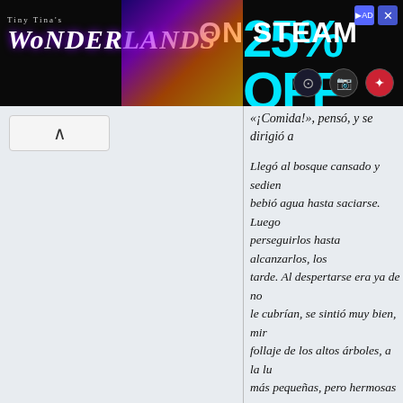[Figure (screenshot): Advertisement banner for Tiny Tina's Wonderlands video game: '25% OFF ON STEAM' in cyan and white text on dark background with game art, Steam icon, camera icon, and red icon.]
«¡Comida!», pensó, y se dirigió a
Llegó al bosque cansado y sedien… bebió agua hasta saciarse. Luego perseguirlos hasta alcanzarlos, los tarde. Al despertarse era ya de no le cubrían, se sintió muy bien, mir follaje de los altos árboles, a la lu más pequeñas, pero hermosas ta pecho se inflamó, sus sentidos qu noche, estaba enamorado. La vol
[Figure (photo): Dark nighttime landscape showing a large bright golden full moon rising above silhouetted trees against a black sky.]